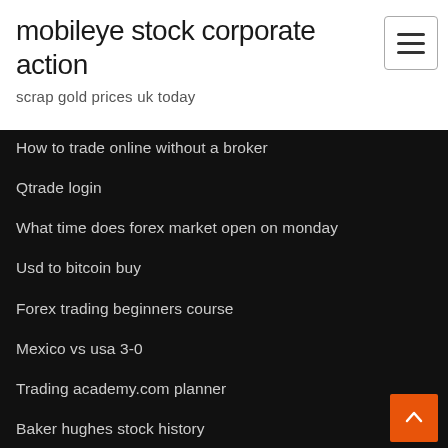mobileye stock corporate action
scrap gold prices uk today
How to trade online without a broker
Qtrade login
What time does forex market open on monday
Usd to bitcoin buy
Forex trading beginners course
Mexico vs usa 3-0
Trading academy.com planner
Baker hughes stock history
Fx derivatives trader school download
5 tsx stocks for potentially building wealth after 50